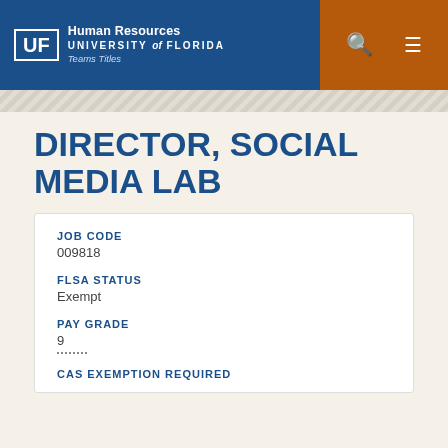UF Human Resources UNIVERSITY of FLORIDA Teams Titles
DIRECTOR, SOCIAL MEDIA LAB
JOB CODE
009818
FLSA STATUS
Exempt
PAY GRADE
9
CAS EXEMPTION REQUIRED